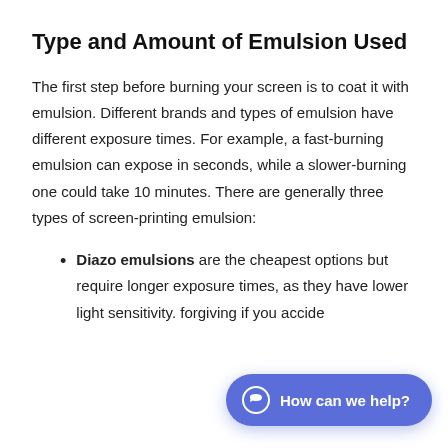Type and Amount of Emulsion Used
The first step before burning your screen is to coat it with emulsion. Different brands and types of emulsion have different exposure times. For example, a fast-burning emulsion can expose in seconds, while a slower-burning one could take 10 minutes. There are generally three types of screen-printing emulsion:
Diazo emulsions are the cheapest options but require longer exposure times, as they have lower light sensitivity. [text cut off] forgiving if you accide[ntally...]